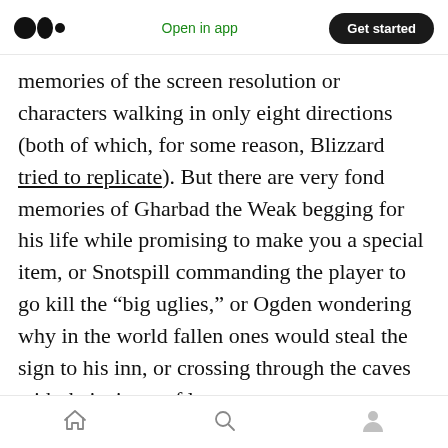Medium logo | Open in app | Get started
memories of the screen resolution or characters walking in only eight directions (both of which, for some reason, Blizzard tried to replicate). But there are very fond memories of Gharbad the Weak begging for his life while promising to make you a special item, or Snotspill commanding the player to go kill the “big uglies,” or Ogden wondering why in the world fallen ones would steal the sign to his inn, or crossing through the caves with their rivers of lava.
I guess the big problem is that it feels like Blizzard couldn’t make up its mind about what it
Home | Search | Profile